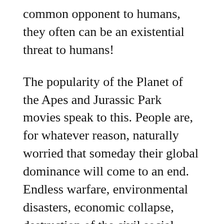common opponent to humans, they often can be an existential threat to humans!
The popularity of the Planet of the Apes and Jurassic Park movies speak to this. People are, for whatever reason, naturally worried that someday their global dominance will come to an end. Endless warfare, environmental disasters, economic collapse, destruction of the civil social order, and other unknown threats ominously loom in the distance. We experience all these things now, but it can get worse, right?
Right. Or not. But fiction rarely gives us a rosy picture of the future. History has taught us that the...